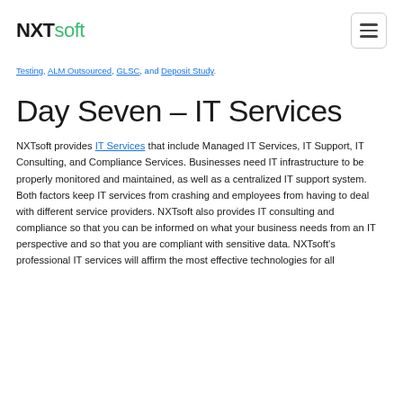NXTsoft
Testing, ALM Outsourced, GLSC, and Deposit Study.
Day Seven – IT Services
NXTsoft provides IT Services that include Managed IT Services, IT Support, IT Consulting, and Compliance Services. Businesses need IT infrastructure to be properly monitored and maintained, as well as a centralized IT support system. Both factors keep IT services from crashing and employees from having to deal with different service providers. NXTsoft also provides IT consulting and compliance so that you can be informed on what your business needs from an IT perspective and so that you are compliant with sensitive data. NXTsoft's professional IT services will affirm the most effective technologies for all...